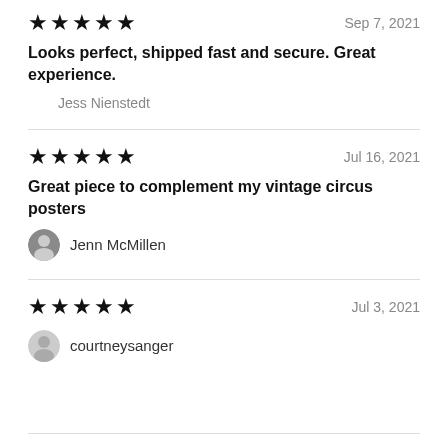★★★★★  Sep 7, 2021
Looks perfect, shipped fast and secure. Great experience.
Jess Nienstedt
★★★★★  Jul 16, 2021
Great piece to complement my vintage circus posters
Jenn McMillen
★★★★★  Jul 3, 2021
courtneysanger